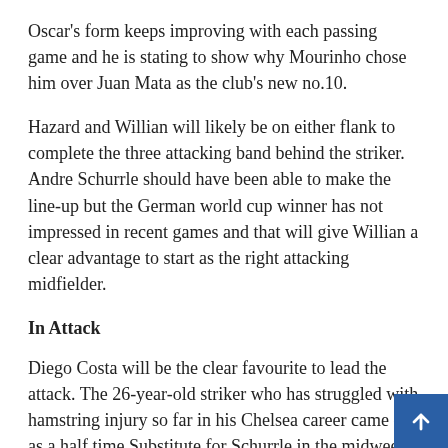Oscar's form keeps improving with each passing game and he is stating to show why Mourinho chose him over Juan Mata as the club's new no.10.
Hazard and Willian will likely be on either flank to complete the three attacking band behind the striker. Andre Schurrle should have been able to make the line-up but the German world cup winner has not impressed in recent games and that will give Willian a clear advantage to start as the right attacking midfielder.
In Attack
Diego Costa will be the clear favourite to lead the attack. The 26-year-old striker who has struggled with hamstring injury so far in his Chelsea career came on as a half time Substitute for Schurrle in the midweek game against Maribor. He showed signs of his attacking prowess with his goal wrongfully ruled out for offside. He will fancy his